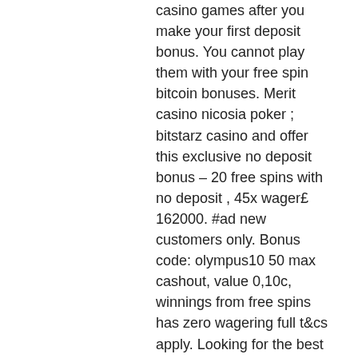casino games after you make your first deposit bonus. You cannot play them with your free spin bitcoin bonuses. Merit casino nicosia poker ; bitstarz casino and offer this exclusive no deposit bonus – 20 free spins with no deposit , 45x wager£ 162000. #ad new customers only. Bonus code: olympus10 50 max cashout, value 0,10c, winnings from free spins has zero wagering full t&cs apply. Looking for the best bitcoin casino bonuses? ➤ take your pick of 1000's in match bonuses, no deposit bonuses and free spins ✓ get exclusive offers ✓ all. Mr star casino no deposit bonus code. Bitcoin casino usa no deposit bonus - free spins for american players promo code 2020. Simply put, bitstarz is the. If you do not like it, you can just move on. In other words, it is smart to look for bitcoin casinos that have no deposit bonuses since they give you the chance. By playing the free spins you win an amount of bonus money no deposit bonuses